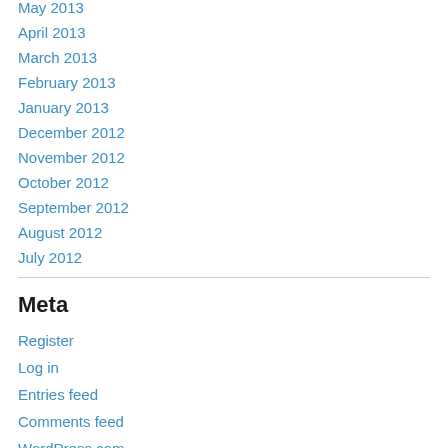May 2013
April 2013
March 2013
February 2013
January 2013
December 2012
November 2012
October 2012
September 2012
August 2012
July 2012
Meta
Register
Log in
Entries feed
Comments feed
WordPress.com